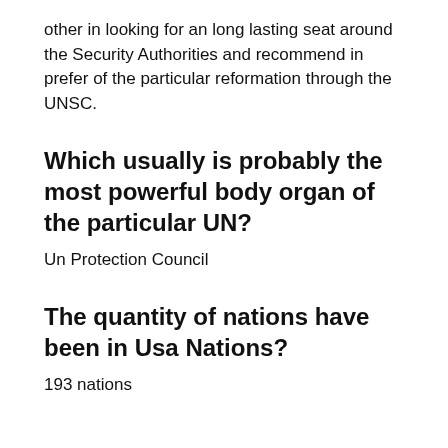other in looking for an long lasting seat around the Security Authorities and recommend in prefer of the particular reformation through the UNSC.
Which usually is probably the most powerful body organ of the particular UN?
Un Protection Council
The quantity of nations have been in Usa Nations?
193 nations